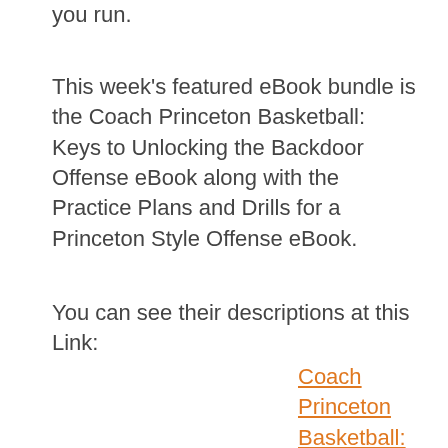you run.
This week's featured eBook bundle is the Coach Princeton Basketball: Keys to Unlocking the Backdoor Offense eBook along with the Practice Plans and Drills for a Princeton Style Offense eBook.
You can see their descriptions at this Link:
Coach Princeton Basketball: Keys to Unlocking